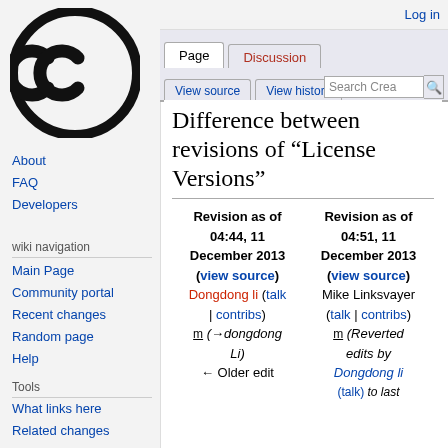[Figure (logo): Creative Commons CC logo — black circle with CC letters inside]
Log in
Page | Discussion | View source | View history | Search Creative Commons
Difference between revisions of "License Versions"
Revision as of 04:44, 11 December 2013 (view source)
Dongdong li (talk | contribs)
m (→dongdong Li)
← Older edit
Revision as of 04:51, 11 December 2013 (view source)
Mike Linksvayer (talk | contribs)
m (Reverted edits by Dongdong li (talk) to last
About
FAQ
Developers
wiki navigation
Main Page
Community portal
Recent changes
Random page
Help
Tools
What links here
Related changes